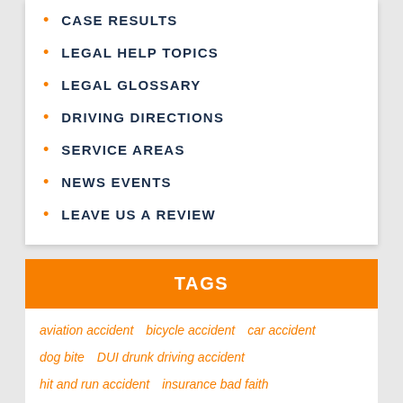CASE RESULTS
LEGAL HELP TOPICS
LEGAL GLOSSARY
DRIVING DIRECTIONS
SERVICE AREAS
NEWS EVENTS
LEAVE US A REVIEW
TAGS
aviation accident
bicycle accident
car accident
dog bite
DUI drunk driving accident
hit and run accident
insurance bad faith
Medicaid lien
medical malpractice